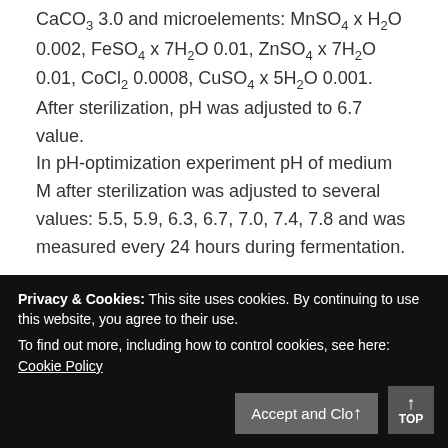CaCO3 3.0 and microelements: MnSO4 x H2O 0.002, FeSO4 x 7H2O 0.01, ZnSO4 x 7H2O 0.01, CoCl2 0.0008, CuSO4 x 5H2O 0.001. After sterilization, pH was adjusted to 6.7 value.
In pH-optimization experiment pH of medium M after sterilization was adjusted to several values: 5.5, 5.9, 6.3, 6.7, 7.0, 7.4, 7.8 and was measured every 24 hours during fermentation.
Slants with Streptomyces sp. 8812 were incubated at 28°C for 10 days. Spores from fresh solid culture were transferred into 35 ml of the medium M in 500 ml shake flasks. The seed culture was grown at 28°C for 4 days on a rotary shaker at 220 rpm. The production medium M was inoculated with 10% of the seed culture...